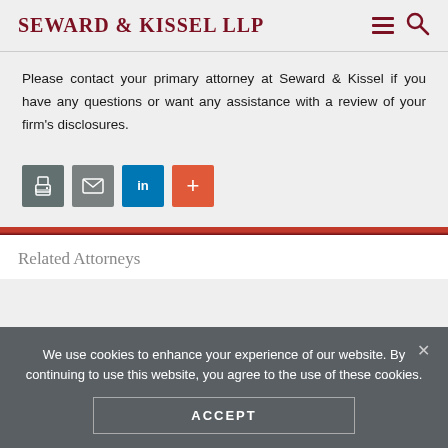Seward & Kissel LLP
Please contact your primary attorney at Seward & Kissel if you have any questions or want any assistance with a review of your firm’s disclosures.
[Figure (infographic): Four social sharing buttons: print (gray), email (gray), LinkedIn (blue), plus/share (orange-red)]
Related Attorneys
We use cookies to enhance your experience of our website. By continuing to use this website, you agree to the use of these cookies.
ACCEPT